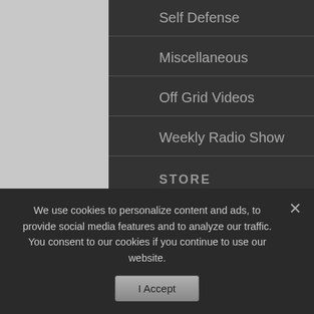Self Defense
Miscellaneous
Off Grid Videos
Weekly Radio Show
STORE
Survival Gardening
Extreme Survival
Natural Health
Off-Grid Foods
We use cookies to personalize content and ads, to provide social media features and to analyze our traffic. You consent to our cookies if you continue to use our website.